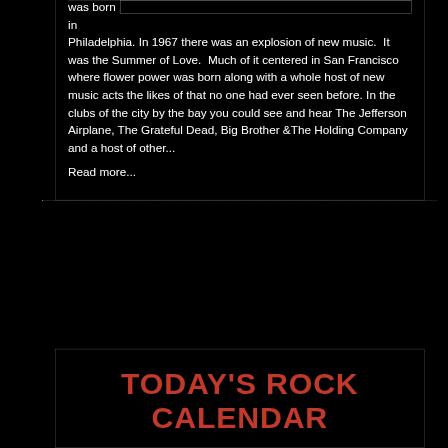was born in Philadelphia. In 1967 there was an explosion of new music.  It was the Summer of Love.  Much of it centered in San Francisco where flower power was born along with a whole host of new music acts the likes of that no one had ever seen before. In the clubs of the city by the bay you could see and hear The Jefferson Airplane, The Grateful Dead, Big Brother &The Holding Company and a host of other...
Read more...
TODAY'S ROCK CALENDAR